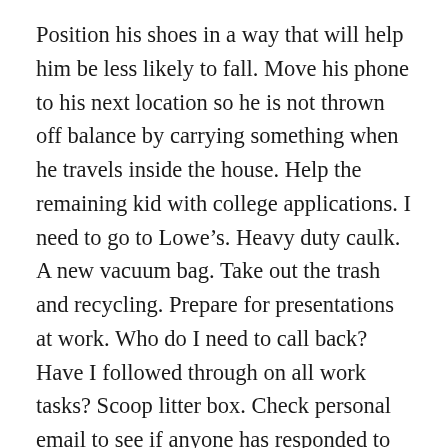Position his shoes in a way that will help him be less likely to fall. Move his phone to his next location so he is not thrown off balance by carrying something when he travels inside the house. Help the remaining kid with college applications. I need to go to Lowe’s. Heavy duty caulk. A new vacuum bag. Take out the trash and recycling. Prepare for presentations at work. Who do I need to call back? Have I followed through on all work tasks? Scoop litter box. Check personal email to see if anyone has responded to my manuscript query letters. Send more queries. Do we have gas in both cars? Pay bills in a way that hopefully does not cause an overdraft. It’s going to be close again this month. Is Hubby breathing? Is the cat breathing? I really need to make a vet appointment. –One more thing. There are other people I want to check in with. I text them. There are other people I would like to be there for. My capacity is